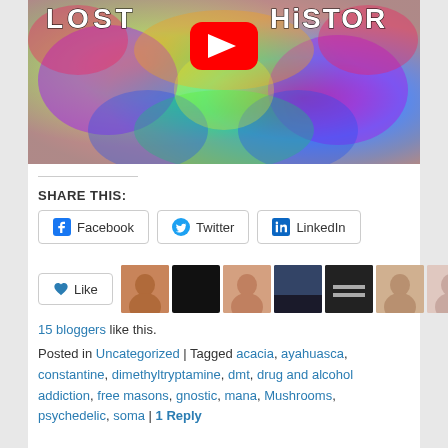[Figure (screenshot): YouTube thumbnail for 'LOST HISTORY' video showing psychedelic colorful fractal art with YouTube play button overlay and white block text 'LOST HISTOR' visible]
SHARE THIS:
Facebook | Twitter | LinkedIn (social share buttons)
Like button with avatar images of 8 bloggers
15 bloggers like this.
Posted in Uncategorized | Tagged acacia, ayahuasca, constantine, dimethyltryptamine, dmt, drug and alcohol addiction, free masons, gnostic, mana, Mushrooms, psychedelic, soma | 1 Reply